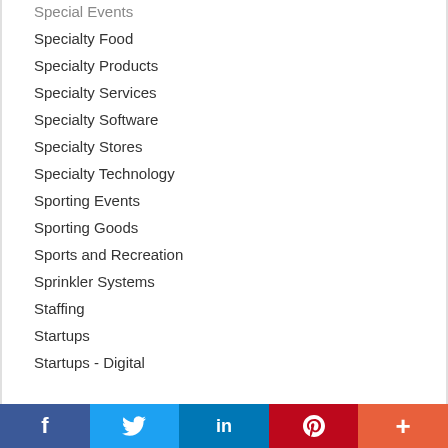Special Events
Specialty Food
Specialty Products
Specialty Services
Specialty Software
Specialty Stores
Specialty Technology
Sporting Events
Sporting Goods
Sports and Recreation
Sprinkler Systems
Staffing
Startups
Startups - Digital
[Figure (other): Social sharing bar with Facebook, Twitter, LinkedIn, Pinterest, and More buttons]